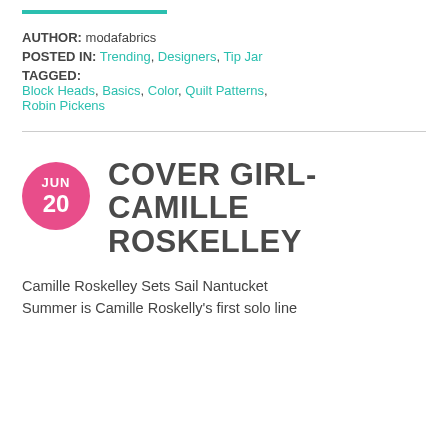READ MORE
AUTHOR: modafabrics
POSTED IN: Trending, Designers, Tip Jar
TAGGED:
Block Heads, Basics, Color, Quilt Patterns, Robin Pickens
COVER GIRL- CAMILLE ROSKELLEY
Camille Roskelley Sets Sail Nantucket Summer is Camille Roskelly's first solo line